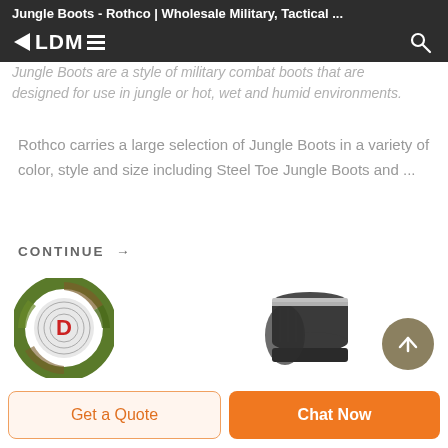Jungle Boots - Rothco | Wholesale Military, Tactical ...
[Figure (logo): ALDME logo in white text on dark background with triangle/arrow motif]
Jungle Boots are a style of military combat boots that are designed for use in jungle or hot, wet and humid environments.
Rothco carries a large selection of Jungle Boots in a variety of color, style and size including Steel Toe Jungle Boots and ...
CONTINUE →
[Figure (illustration): Camouflage circle logo with letter D in center]
[Figure (photo): Dark military/tactical boot shown from side angle]
Get a Quote
Chat Now